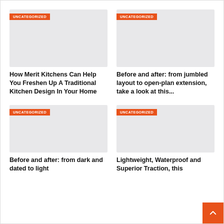[Figure (photo): Placeholder image for article 1 with UNCATEGORIZED orange badge]
[Figure (photo): Placeholder image for article 2 with UNCATEGORIZED orange badge]
How Merit Kitchens Can Help You Freshen Up A Traditional Kitchen Design In Your Home
Before and after: from jumbled layout to open-plan extension, take a look at this...
[Figure (photo): Placeholder image for article 3 with UNCATEGORIZED orange badge]
[Figure (photo): Placeholder image for article 4 with UNCATEGORIZED orange badge]
Before and after: from dark and dated to light
Lightweight, Waterproof and Superior Traction, this